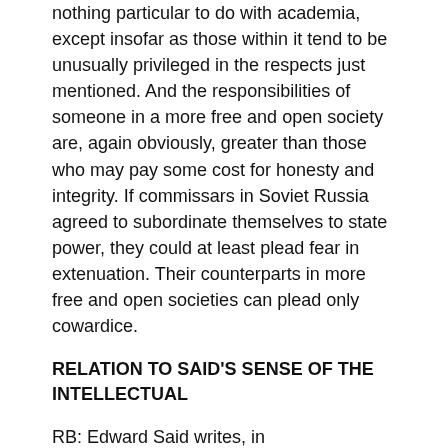nothing particular to do with academia, except insofar as those within it tend to be unusually privileged in the respects just mentioned. And the responsibilities of someone in a more free and open society are, again obviously, greater than those who may pay some cost for honesty and integrity. If commissars in Soviet Russia agreed to subordinate themselves to state power, they could at least plead fear in extenuation. Their counterparts in more free and open societies can plead only cowardice.
RELATION TO SAID'S SENSE OF THE INTELLECTUAL
RB: Edward Said writes, in Representations of the Intellectual, that: the intellectual is an individual with a specific public role in society that cannot be reduced simply to . . a faceless professional . . . the intellectual is . . . endowed with a faculty for . . . articulating a . . . philosophy or opinion to, as well as for, a public. And this role has an edge to it, [involving] someone whose place it is publicly to raise embarrassing questions, to confront orthodoxy . . . to be someone who cannot